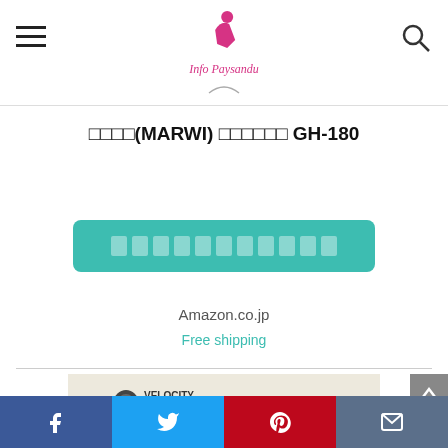Info Paysandu
マーウィー(MARWI) グリップボルト GH-180
[Figure (other): Teal button with Japanese text placeholders (rectangles), linking to Amazon.co.jp]
Amazon.co.jp
Free shipping
[Figure (photo): Velocity Kuota cycling product advertisement showing two cyclists in black and white]
Facebook  Twitter  Pinterest  Email social share buttons